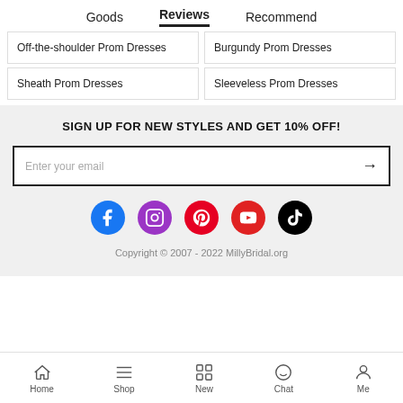Goods   Reviews   Recommend
Off-the-shoulder Prom Dresses
Burgundy Prom Dresses
Sheath Prom Dresses
Sleeveless Prom Dresses
SIGN UP FOR NEW STYLES AND GET 10% OFF!
Enter your email
[Figure (infographic): Row of 5 social media icons: Facebook (blue), Instagram (purple), Pinterest (red), YouTube (red), TikTok (black)]
Copyright © 2007 - 2022 MillyBridal.org
Home  Shop  New  Chat  Me